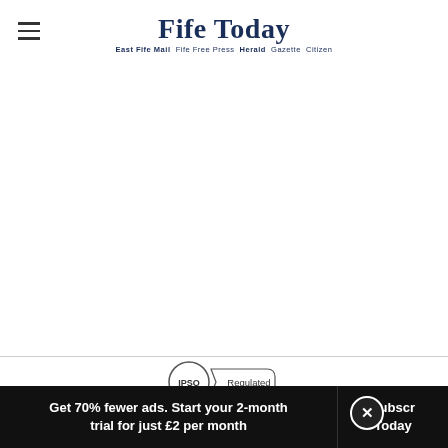Fife Today — East Fife Mail  Fife Free Press  Herald  Gazette  Citizen
[Figure (logo): IPSO Regulated badge — circular IPSO logo with ribbon-style 'Regulated' text]
This website and its associated newspaper are members of Independent Press Standards Organisation (IPSO)
Get 70% fewer ads. Start your 2-month trial for just £2 per month  |  Subscribe Today